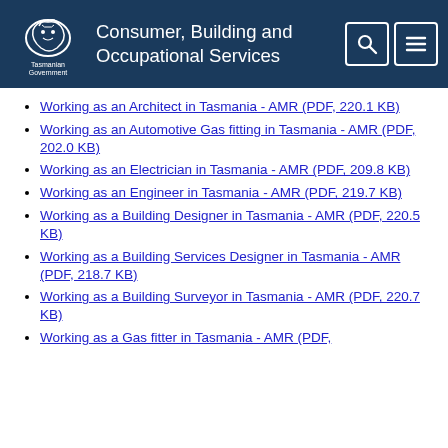Consumer, Building and Occupational Services
Working as an Architect in Tasmania - AMR (PDF, 220.1 KB)
Working as an Automotive Gas fitting in Tasmania - AMR (PDF, 202.0 KB)
Working as an Electrician in Tasmania - AMR (PDF, 209.8 KB)
Working as an Engineer in Tasmania - AMR (PDF, 219.7 KB)
Working as a Building Designer in Tasmania - AMR (PDF, 220.5 KB)
Working as a Building Services Designer in Tasmania - AMR (PDF, 218.7 KB)
Working as a Building Surveyor in Tasmania - AMR (PDF, 220.7 KB)
Working as a Gas fitter in Tasmania - AMR (PDF,